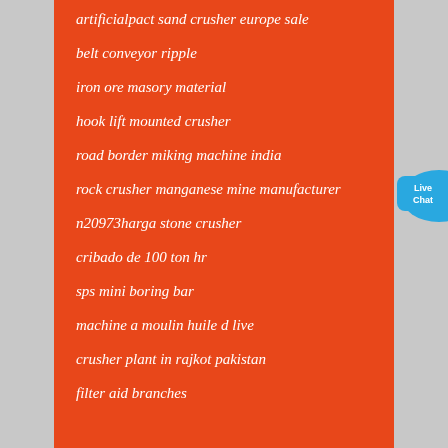artificialpact sand crusher europe sale
belt conveyor ripple
iron ore masory material
hook lift mounted crusher
road border miking machine india
rock crusher manganese mine manufacturer
n20973harga stone crusher
cribado de 100 ton hr
sps mini boring bar
machine a moulin huile d live
crusher plant in rajkot pakistan
filter aid branches